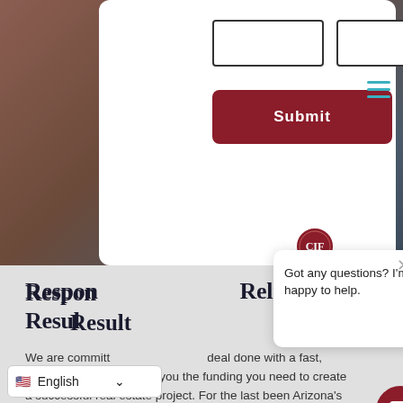[Figure (screenshot): Web form with two empty input boxes side by side on a white card overlaid on a dark reddish-brown landscape background photo. A dark red rounded Submit button is below the input fields. A teal hamburger/menu icon appears in the upper right corner.]
Responsible Lending. Reliable Results.
We are committed to getting your deal done with a fast, simple process that gets you the funding you need to create a successful real estate project. For the last been Arizona's fastest, e-money lender because
[Figure (screenshot): Chat popup widget with CIF circular logo badge, text 'Got any questions? I'm happy to help.' with a close X button, and a dark red chat bubble button at bottom right.]
English (language selector with US flag)